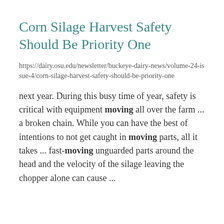Corn Silage Harvest Safety Should Be Priority One
https://dairy.osu.edu/newsletter/buckeye-dairy-news/volume-24-issue-4/corn-silage-harvest-safety-should-be-priority-one
next year. During this busy time of year, safety is critical with equipment moving all over the farm ... a broken chain. While you can have the best of intentions to not get caught in moving parts, all it takes ... fast-moving unguarded parts around the head and the velocity of the silage leaving the chopper alone can cause ...